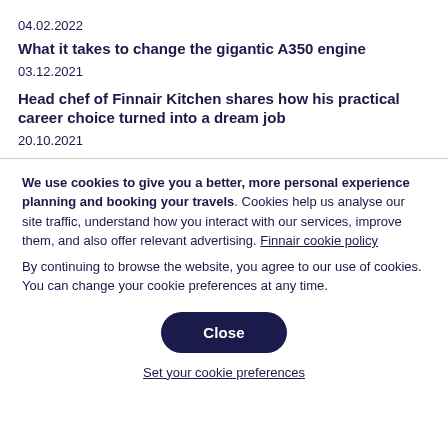04.02.2022
What it takes to change the gigantic A350 engine
03.12.2021
Head chef of Finnair Kitchen shares how his practical career choice turned into a dream job
20.10.2021
We use cookies to give you a better, more personal experience planning and booking your travels. Cookies help us analyse our site traffic, understand how you interact with our services, improve them, and also offer relevant advertising. Finnair cookie policy
By continuing to browse the website, you agree to our use of cookies. You can change your cookie preferences at any time.
Close
Set your cookie preferences